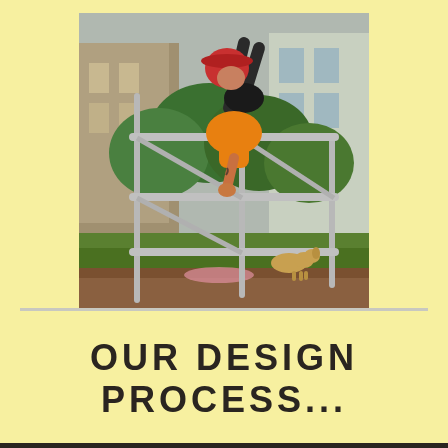[Figure (photo): A person wearing an orange shirt and red helmet/hat performing a parkour move on metal scaffold bars outdoors. A dog is visible in the background on a grassy area with green trees and a building.]
OUR DESIGN PROCESS...